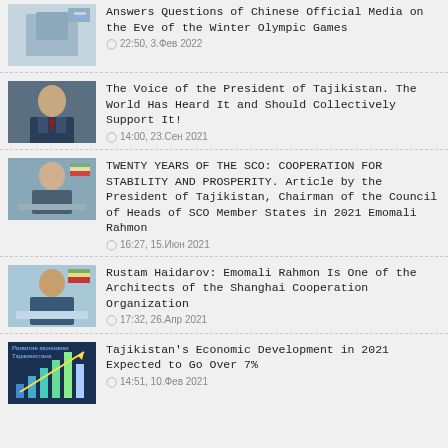Answers Questions of Chinese Official Media on the Eve of the Winter Olympic Games
22:50, 3.Фев 2022
The Voice of the President of Tajikistan. The World Has Heard It and Should Collectively Support It!
14:00, 23.Сен 2021
TWENTY YEARS OF THE SCO: COOPERATION FOR STABILITY AND PROSPERITY. Article by the President of Tajikistan, Chairman of the Council of Heads of SCO Member States in 2021 Emomali Rahmon
16:27, 15.Июн 2021
Rustam Haidarov: Emomali Rahmon Is One of the Architects of the Shanghai Cooperation Organization
17:32, 26.Апр 2021
Tajikistan's Economic Development in 2021 Expected to Go Over 7%
14:51, 10.Фев 2021